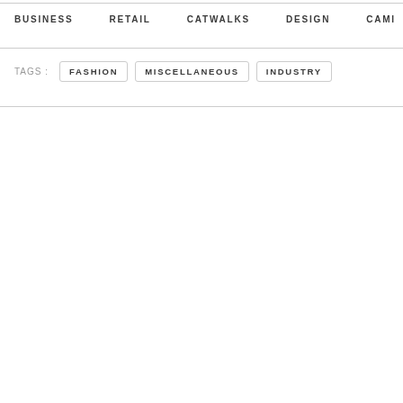BUSINESS   RETAIL   CATWALKS   DESIGN   CAMI   >
TAGS :   FASHION   MISCELLANEOUS   INDUSTRY